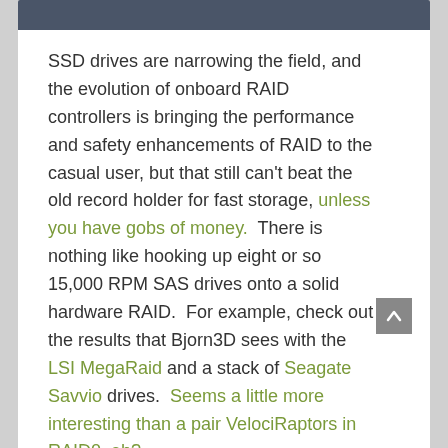SSD drives are narrowing the field, and the evolution of onboard RAID controllers is bringing the performance and safety enhancements of RAID to the casual user, but that still can't beat the old record holder for fast storage, unless you have gobs of money.  There is nothing like hooking up eight or so 15,000 RPM SAS drives onto a solid hardware RAID.  For example, check out the results that Bjorn3D sees with the LSI MegaRaid and a stack of Seagate Savvio drives.  Seems a little more interesting than a pair VelociRaptors in RAID0, eh?